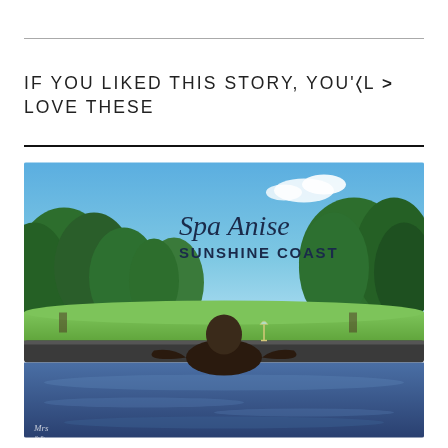IF YOU LIKED THIS STORY, YOU'LL LOVE THESE
[Figure (photo): Person sitting in a spa/hot tub from behind, holding a champagne glass, overlooking a lush green garden and tree-lined landscape under blue sky. Text overlay reads 'Spa Anise SUNSHINE COAST'. Watermark 'Mrs' visible at bottom left.]